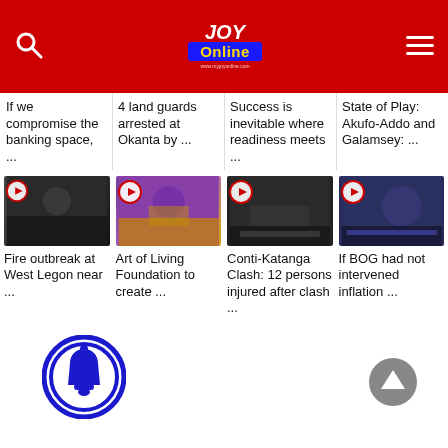[Figure (screenshot): JoyOnline website header with red background, search icon, JoyOnline logo, and hamburger menu]
If we compromise the banking space, ...
4 land guards arrested at Okanta by ...
Success is inevitable where readiness meets ...
State of Play: Akufo-Addo and Galamsey: ...
[Figure (screenshot): Video thumbnail: Fire outbreak at West Legon near ...]
Fire outbreak at West Legon near ...
[Figure (screenshot): Video thumbnail: Art of Living Foundation to create ...]
Art of Living Foundation to create ...
[Figure (screenshot): Video thumbnail: Conti-Katanga Clash: 12 persons injured after clash ...]
Conti-Katanga Clash: 12 persons injured after clash ...
[Figure (screenshot): Video thumbnail: If BOG had not intervened inflation ...]
If BOG had not intervened inflation ...